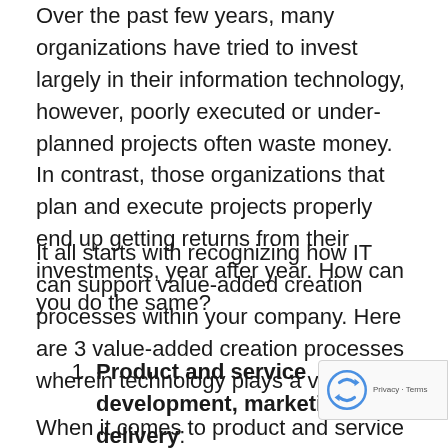Over the past few years, many organizations have tried to invest largely in their information technology, however, poorly executed or under-planned projects often waste money. In contrast, those organizations that plan and execute projects properly end up getting returns from their investments, year after year. How can you do the same?
It all starts with recognizing how IT can support value-added creation processes within your company. Here are 3 value-added creation processes wherein technology plays a vital role:
Product and service development, marketing, and delivery:
When it comes to product and service development, marketing, and delivery, information technology can